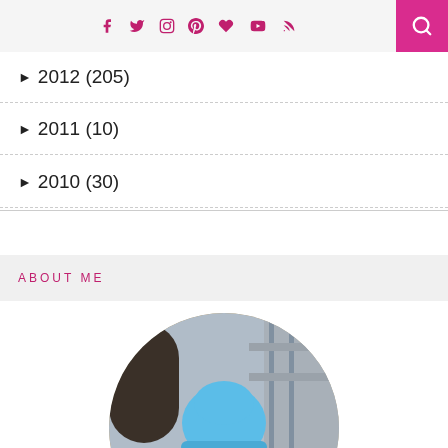f  twitter  instagram  pinterest  heart  youtube  rss  [search]
► 2012 (205)
► 2011 (10)
► 2010 (30)
ABOUT ME
[Figure (photo): Circular cropped photo of a woman wearing a blue fuzzy beanie hat and round dark sunglasses, with long red/auburn hair, wearing a light-colored coat, photographed in front of an arched stone building.]